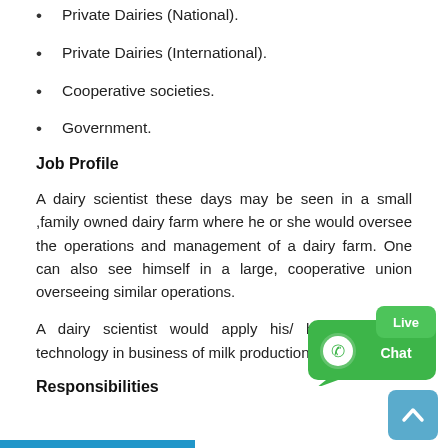Private Dairies (National).
Private Dairies (International).
Cooperative societies.
Government.
Job Profile
A dairy scientist these days may be seen in a small ,family owned dairy farm where he or she would oversee the operations and management of a dairy farm. One can also see himself in a large, cooperative union overseeing similar operations.
A dairy scientist would apply his/ her knowledge technology in business of milk production & processing.
Responsibilities
[Figure (illustration): WhatsApp Live Chat widget — green speech bubble with WhatsApp logo and 'Live Chat' text]
[Figure (illustration): Scroll-to-top button — light blue rounded square with upward chevron arrow]